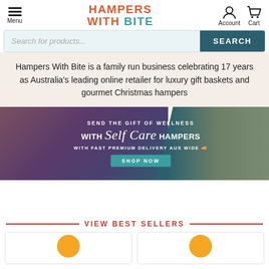[Figure (screenshot): Website navigation header with hamburger menu, Hampers With Bite logo in orange and teal, account and cart icons]
[Figure (screenshot): Search bar with placeholder 'Search for products...' and dark teal SEARCH button]
Hampers With Bite is a family run business celebrating 17 years as Australia's leading online retailer for luxury gift baskets and gourmet Christmas hampers
[Figure (photo): Promotional banner: SEND THE GIFT OF WELLNESS WITH Self Care HAMPERS WITH FAST PREMIUM DELIVERY AUS WIDE — SHOP NOW button, with product photos on left and right]
VIEW BEST SELLERS
[Figure (photo): Partial product card with orange circular badge, bottom of page]